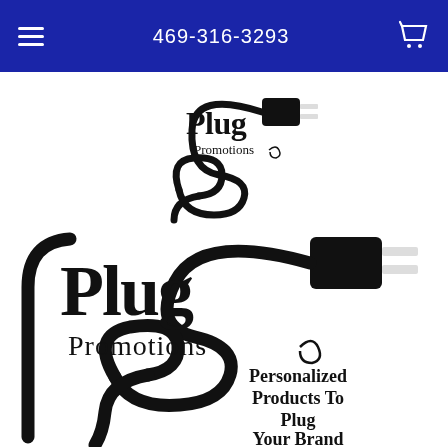469-316-3293
[Figure (logo): Plug Promotions logo (small): black plug icon with curling cord and company name 'Plug Promotions']
[Figure (logo): Plug Promotions logo (large): black plug icon with curling cord, company name 'Plug Promotions', and tagline 'Personalized Products To Plug Your Brand']